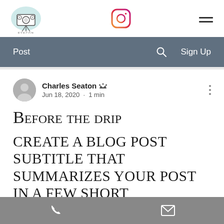[Figure (logo): Eyecon Films logo with film camera icon and text EYECON FILMS]
[Figure (logo): Instagram icon (gradient circle with camera outline)]
Post  Sign Up
Charles Seaton  Jun 18, 2020 · 1 min
Before the drip
Create a blog post subtitle that summarizes your post in a few short
Phone and email contact icons